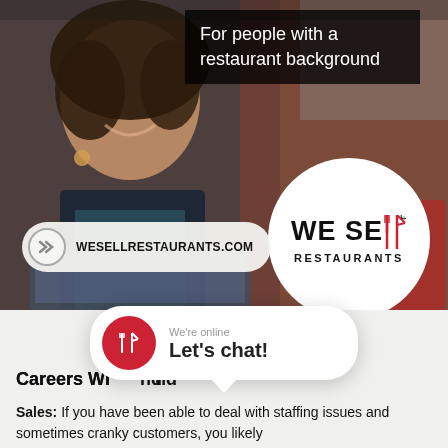[Figure (photo): Smiling woman with curly hair wearing an apron, in a restaurant setting with a laptop, used as background image for We Sell Restaurants advertisement]
For people with a restaurant background
[Figure (logo): We Sell Restaurants logo — circular white badge with fork and knife icons replacing the 'll' in SELL, text RESTAURANTS below]
WESELLRESTAURANTS.COM
[Figure (infographic): Chat bubble popup showing red circle with fork/knife icon, text 'We're online' and 'Let's chat!']
Careers Wi... nd
Sales: If you have been able to deal with staffing issues and sometimes cranky customers, you likely